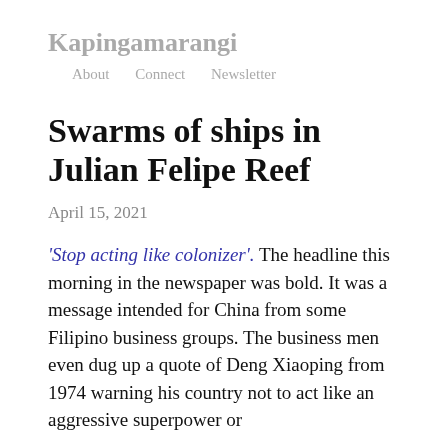Kapingamarangi
About   Connect   Newsletter
Swarms of ships in Julian Felipe Reef
April 15, 2021
'Stop acting like colonizer'. The headline this morning in the newspaper was bold. It was a message intended for China from some Filipino business groups. The business men even dug up a quote of Deng Xiaoping from 1974 warning his country not to act like an aggressive superpower or